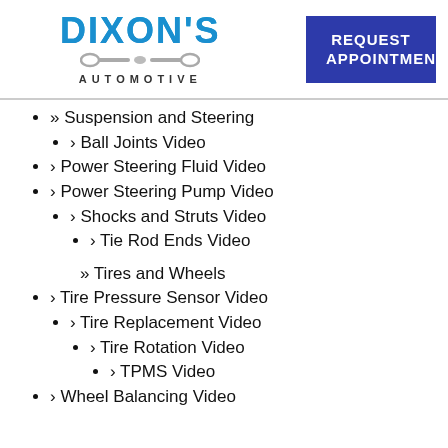[Figure (logo): Dixon's Automotive logo with wrench graphic and text]
REQUEST APPOINTMENT
» Suspension and Steering
› Ball Joints Video
› Power Steering Fluid Video
› Power Steering Pump Video
› Shocks and Struts Video
› Tie Rod Ends Video
» Tires and Wheels
› Tire Pressure Sensor Video
› Tire Replacement Video
› Tire Rotation Video
› TPMS Video
› Wheel Balancing Video